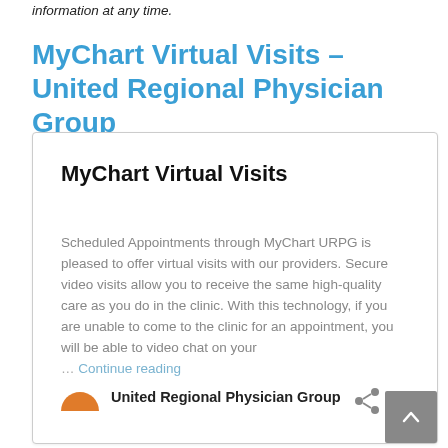information at any time.
MyChart Virtual Visits – United Regional Physician Group
MyChart Virtual Visits
Scheduled Appointments through MyChart URPG is pleased to offer virtual visits with our providers. Secure video visits allow you to receive the same high-quality care as you do in the clinic. With this technology, if you are unable to come to the clinic for an appointment, you will be able to video chat on your … Continue reading
United Regional Physician Group